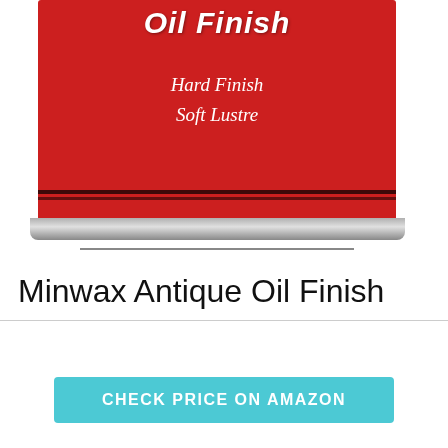[Figure (photo): A red metal can of Minwax Antique Oil Finish product with white text reading 'Oil Finish', 'Hard Finish', 'Soft Lustre' on the label.]
Minwax Antique Oil Finish
CHECK PRICE ON AMAZON